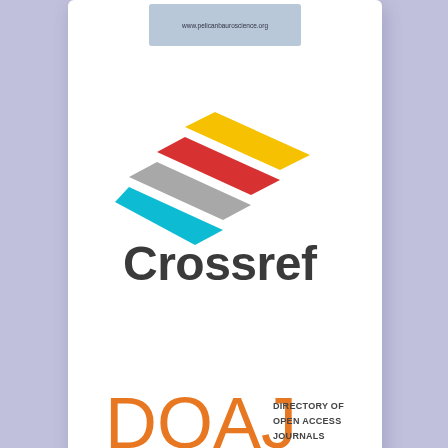[Figure (logo): Pelican neuroscience website banner image with URL www.pelicanbauroscience.org]
[Figure (logo): Crossref logo - colorful geometric arrow shapes (yellow, red, grey, teal) above the word Crossref in dark grey sans-serif font]
[Figure (logo): DOAJ - Directory of Open Access Journals logo in orange and dark text]
We are social!
[Figure (logo): Pinterest social media icon - red circle with white P]
[Figure (logo): Twitter social media icon - blue circle with white bird]
[Figure (logo): Facebook social media icon - blue circle with white f (partially visible)]